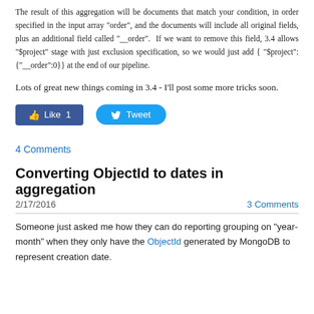The result of this aggregation will be documents that match your condition, in order specified in the input array "order", and the documents will include all original fields, plus an additional field called "__order".  If we want to remove this field, 3.4 allows "$project" stage with just exclusion specification, so we would just add { "$project": {"__order":0}} at the end of our pipeline.
Lots of great new things coming in 3.4 - I'll post some more tricks soon.
[Figure (other): Social sharing buttons: Facebook Like (count 1) and Twitter Tweet]
4 Comments
Converting ObjectId to dates in aggregation
2/17/2016     3 Comments
Someone just asked me how they can do reporting grouping on "year-month" when they only have the ObjectId generated by MongoDB to represent creation date.